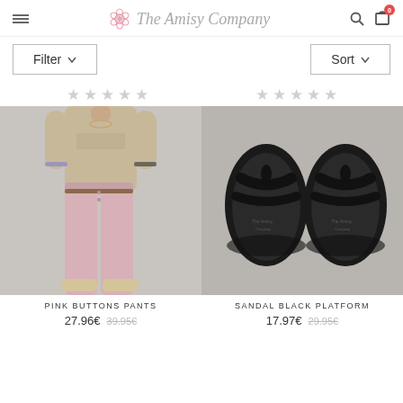The Amisy Company
Filter
Sort
[Figure (photo): Woman wearing a beige graphic t-shirt, pink skinny jeans, and white platform sandals, photographed from the torso down against a grey background.]
[Figure (photo): Black flip-flop sandals with platform soles and braided straps, photographed from above on a grey background. Brand label visible on insole.]
PINK BUTTONS PANTS
27.96€  39.95€
SANDAL BLACK PLATFORM
17.97€  29.95€